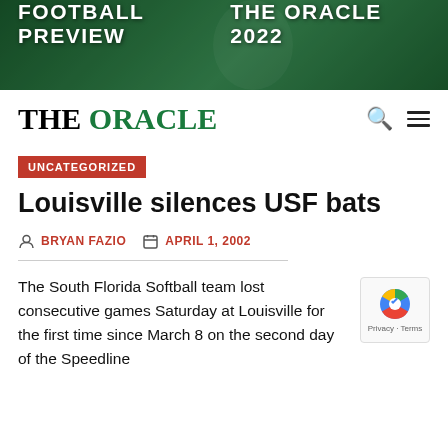[Figure (illustration): Football Preview banner with green background showing a football player, text: FOOTBALL PREVIEW THE ORACLE 2022]
THE ORACLE
UNCATEGORIZED
Louisville silences USF bats
BRYAN FAZIO   APRIL 1, 2002
The South Florida Softball team lost consecutive games Saturday at Louisville for the first time since March 8 on the second day of the Speedline